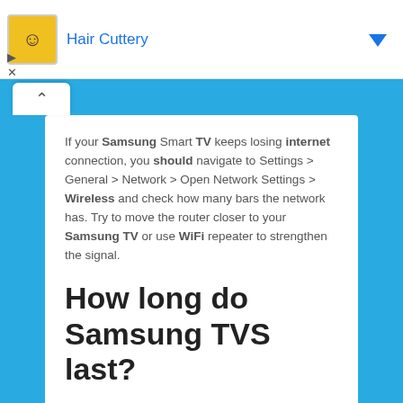[Figure (screenshot): Advertisement banner for Hair Cuttery with yellow logo icon, blue text title, and a blue dropdown arrow on the right. Includes play and close controls below.]
If your Samsung Smart TV keeps losing internet connection, you should navigate to Settings > General > Network > Open Network Settings > Wireless and check how many bars the network has. Try to move the router closer to your Samsung TV or use WiFi repeater to strengthen the signal.
How long do Samsung TVS last?